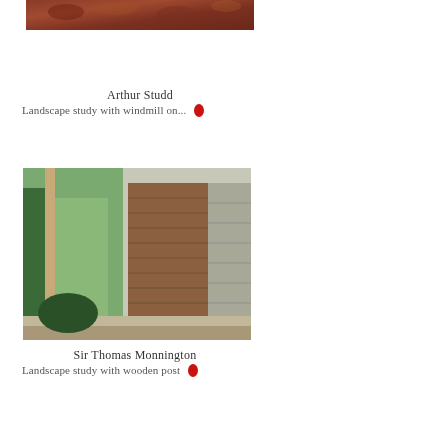[Figure (photo): Partial view of a painting — upper portion showing reddish-brown foliage or rocks, cropped at top]
Arthur Studd
Landscape study with windmill on...
[Figure (photo): Painting by Sir Thomas Monnington showing a landscape study with a wooden post, featuring green grassy plants on the left and a brown/grey brick or wooden shed structure on the right, with a vertical post in the foreground]
Sir Thomas Monnington
Landscape study with wooden post